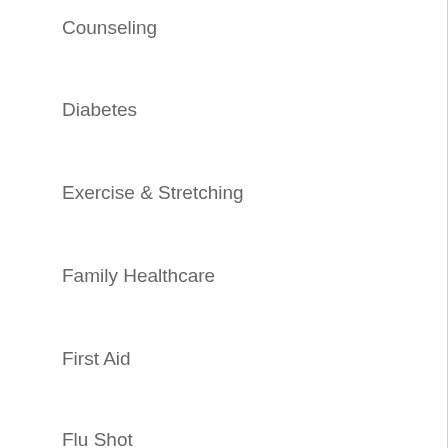Counseling
Diabetes
Exercise & Stretching
Family Healthcare
First Aid
Flu Shot
Health & Wellness
Healthcare News
Healthy Diet
Healthy Tips
Holiday Season
Importance of Dental Care
Kids Health